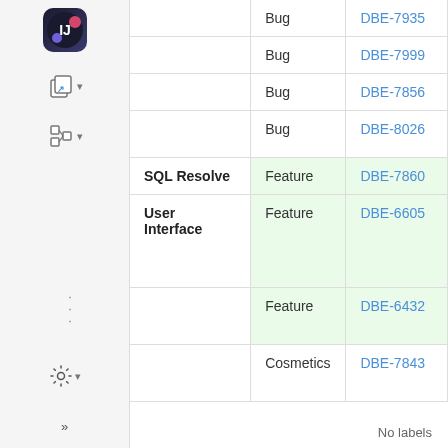|  | Type | Issue |
| --- | --- | --- |
|  | Bug | DBE-7935 |
|  | Bug | DBE-7999 |
|  | Bug | DBE-7856 |
|  | Bug | DBE-8026 |
| SQL Resolve | Feature | DBE-7860 |
| User Interface | Feature | DBE-6605 |
|  | Feature | DBE-6432 |
|  | Cosmetics | DBE-7843 |
No labels